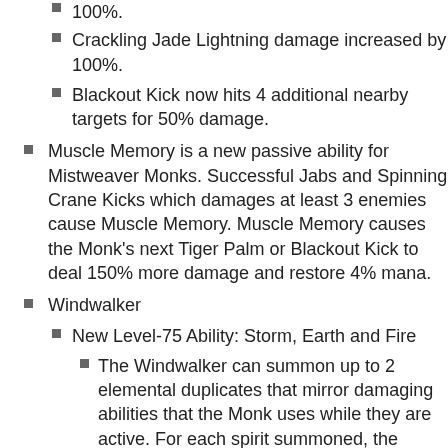Crackling Jade Lightning damage increased by 100%.
Blackout Kick now hits 4 additional nearby targets for 50% damage.
Muscle Memory is a new passive ability for Mistweaver Monks. Successful Jabs and Spinning Crane Kicks which damages at least 3 enemies cause Muscle Memory. Muscle Memory causes the Monk’s next Tiger Palm or Blackout Kick to deal 150% more damage and restore 4% mana.
Windwalker
New Level-75 Ability: Storm, Earth and Fire
The Windwalker can summon up to 2 elemental duplicates that mirror damaging abilities that the Monk uses while they are active. For each spirit summoned, the Monk’s damage is reduced: 1 spirit causes the Monk and the spirit to deal 60% of the Monk’s